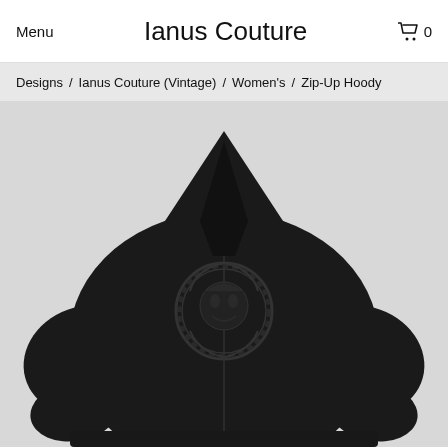Menu | Ianus Couture | 0
Designs / Ianus Couture (Vintage) / Women's / Zip-Up Hoody
[Figure (photo): Black zip-up hoodie shown from the back, featuring a dark circular emblem logo on the center back, displayed against a light gray background.]